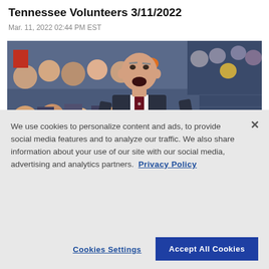Tennessee Volunteers 3/11/2022
Mar. 11, 2022 02:44 PM EST
[Figure (photo): A basketball coach in a dark suit and maroon dotted tie, mouth open shouting, standing on a sideline with a crowd of spectators in the background.]
We use cookies to personalize content and ads, to provide social media features and to analyze our traffic. We also share information about your use of our site with our social media, advertising and analytics partners. Privacy Policy
Cookies Settings
Accept All Cookies